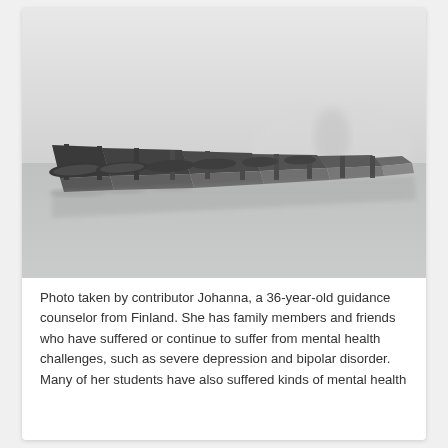[Figure (photo): Black and white photograph of a foggy lakeside dock with rowing boats moored along a wooden pier extending into misty water. The scene is atmospheric and minimalist, with muted grey tones throughout.]
Photo taken by contributor Johanna, a 36-year-old guidance counselor from Finland. She has family members and friends who have suffered or continue to suffer from mental health challenges, such as severe depression and bipolar disorder. Many of her students have also suffered kinds of mental health...